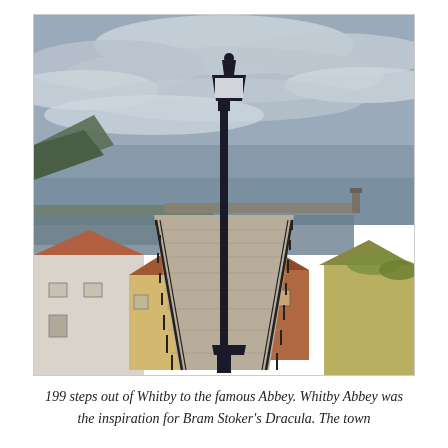[Figure (photo): View from the top of the 199 steps in Whitby, England, looking down stone steps with iron railings toward the harbor, sea, and pier. A tall black Victorian lamp post stands prominently in the center. Traditional red-roofed and white-walled cottages line the steps on both sides. The harbor extends into a grey sea under a cloudy sky.]
199 steps out of Whitby to the famous Abbey. Whitby Abbey was the inspiration for Bram Stoker's Dracula. The town